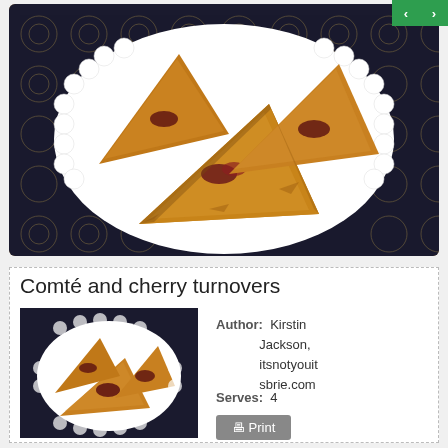[Figure (photo): Large photo of golden-brown Comté and cherry turnovers on a white decorative plate with lace-like rim, placed on a dark patterned tablecloth. Several triangular puff pastry turnovers are stacked showing cherry filling.]
Comté and cherry turnovers
[Figure (photo): Small thumbnail photo of the same Comté and cherry turnovers on a white decorative plate, dark background.]
Author: Kirstin Jackson, itsnotyouitsbriecom
Serves: 4
Print